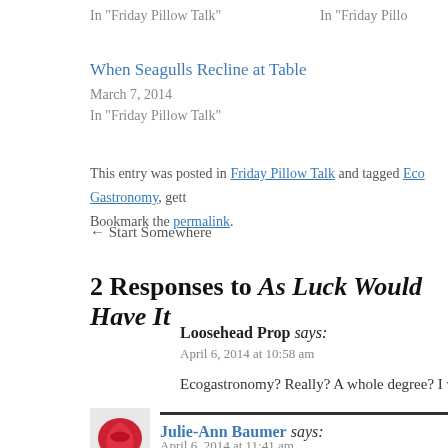In "Friday Pillow Talk"
In "Friday Pillo
When Seagulls Recline at Table
March 7, 2014
In "Friday Pillow Talk"
This entry was posted in Friday Pillow Talk and tagged Eco Gastronomy, gett. Bookmark the permalink.
← Start Somewhere
2 Responses to As Luck Would Have It
Loosehead Prop says:
April 6, 2014 at 10:58 am
Ecogastronomy? Really? A whole degree? I wonder wh
Julie-Ann Baumer says:
April 6, 2014 at 11:41 am